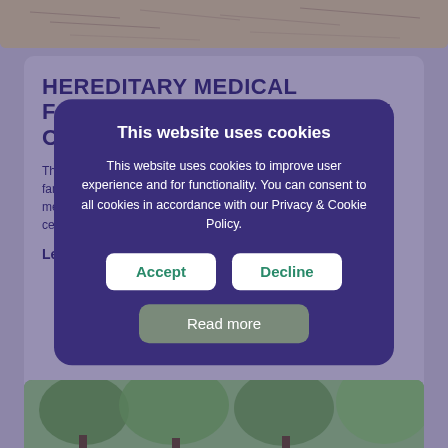[Figure (illustration): Top strip showing a historical/genealogical document or map with handwritten annotations in beige/tan tones]
HEREDITARY MEDICAL FAMILIES AND THE INFLUENCE OF
This ... fam... me... cen...
Lea...
[Figure (photo): Bottom strip showing trees with green foliage against a light background]
This website uses cookies
This website uses cookies to improve user experience and for functionality. You can consent to all cookies in accordance with our Privacy & Cookie Policy.
Accept
Decline
Read more